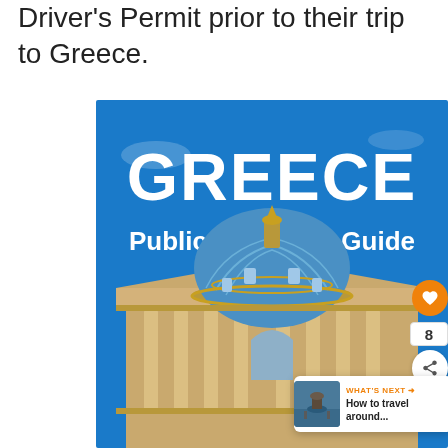Driver's Permit prior to their trip to Greece.
[Figure (illustration): Greece Public Transport Guide book cover showing a Greek neoclassical building with a blue dome against a bright blue sky. The cover has large white bold text reading 'GREECE' and below it 'Public Transport Guide'. UI overlay elements include a heart/like button, share button, count of 8, and a 'WHAT'S NEXT' card reading 'How to travel around...']